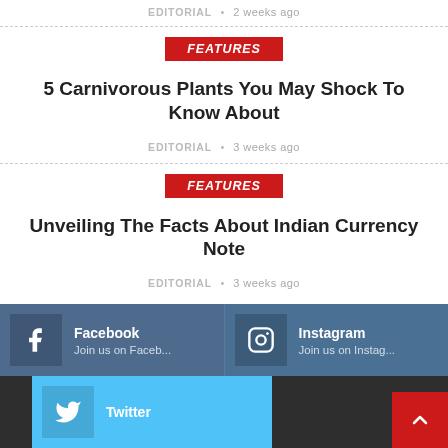EDITORIAL • 2 weeks ago
FEATURES
5 Carnivorous Plants You May Shock To Know About
EDITORIAL • 3 weeks ago
FEATURES
Unveiling The Facts About Indian Currency Note
EDITORIAL • 3 weeks ago
LOAD MORE POSTS
Facebook
Join us on Faceb...
Instagram
Join us on Instag...
Twitter